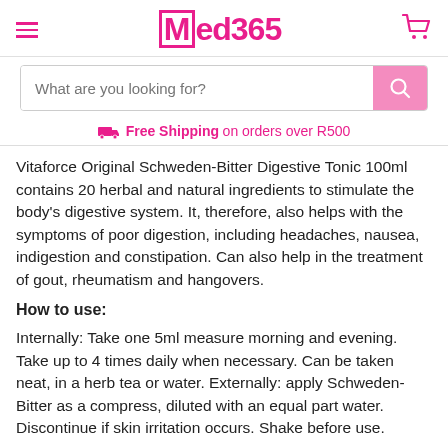Med365
What are you looking for?
Free Shipping on orders over R500
Vitaforce Original Schweden-Bitter Digestive Tonic 100ml contains 20 herbal and natural ingredients to stimulate the body's digestive system. It, therefore, also helps with the symptoms of poor digestion, including headaches, nausea, indigestion and constipation. Can also help in the treatment of gout, rheumatism and hangovers.
How to use:
Internally: Take one 5ml measure morning and evening. Take up to 4 times daily when necessary. Can be taken neat, in a herb tea or water. Externally: apply Schweden-Bitter as a compress, diluted with an equal part water. Discontinue if skin irritation occurs. Shake before use.